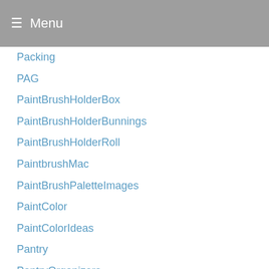Menu
Packing
PAG
PaintBrushHolderBox
PaintBrushHolderBunnings
PaintBrushHolderRoll
PaintbrushMac
PaintBrushPaletteImages
PaintColor
PaintColorIdeas
Pantry
PantryOrganizers
PaperTowelHolders
PaperTowelRollHolderBunnings
PaperTowelRollHolderKmart
Paris
Payhere
PC